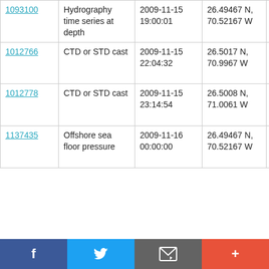| ID | Type | Date/Time | Position | Cruise |
| --- | --- | --- | --- | --- |
| 1093100 | Hydrography time series at depth | 2009-11-15 19:00:01 | 26.49467 N, 70.52167 W | RRS Discovery D344 |
| 1012766 | CTD or STD cast | 2009-11-15 22:04:32 | 26.5017 N, 70.9967 W | RRS Discovery D344 |
| 1012778 | CTD or STD cast | 2009-11-15 23:14:54 | 26.5008 N, 71.0061 W | RRS Discovery D344 |
| 1137435 | Offshore sea floor pressure ... | 2009-11-16 00:00:00 | 26.49467 N, 70.52167 W | RRS Discovery D344 |
[Figure (other): Social sharing bar with Facebook, Twitter, email, and plus buttons]